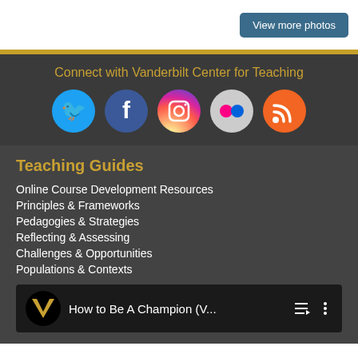View more photos
Connect with Vanderbilt Center for Teaching
[Figure (illustration): Social media icons: Twitter (blue), Facebook (dark blue), Instagram (gradient pink/purple/orange), Flickr (gray with pink/red dots), RSS feed (orange)]
Teaching Guides
Online Course Development Resources
Principles & Frameworks
Pedagogies & Strategies
Reflecting & Assessing
Challenges & Opportunities
Populations & Contexts
[Figure (screenshot): YouTube video thumbnail with Vanderbilt V logo and title 'How to Be A Champion (V...' with playlist and menu icons]